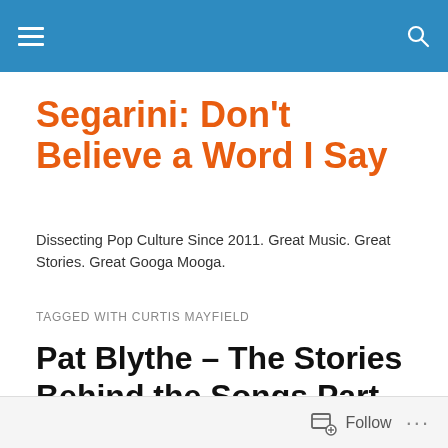Segarini: Don't Believe a Word I Say (site navigation header)
Segarini: Don't Believe a Word I Say
Dissecting Pop Culture Since 2011. Great Music. Great Stories. Great Googa Mooga.
TAGGED WITH CURTIS MAYFIELD
Pat Blythe – The Stories Behind the Songs Part 4....
[Figure (photo): Partial black and white photo visible at bottom of post listing]
Follow